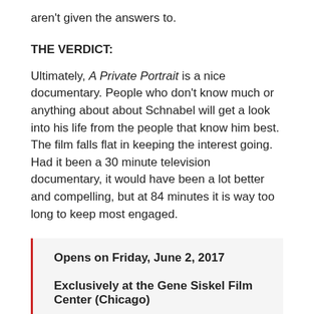aren't given the answers to.
THE VERDICT:
Ultimately, A Private Portrait is a nice documentary. People who don't know much or anything about about Schnabel will get a look into his life from the people that know him best. The film falls flat in keeping the interest going. Had it been a 30 minute television documentary, it would have been a lot better and compelling, but at 84 minutes it is way too long to keep most engaged.
Opens on Friday, June 2, 2017
Exclusively at the Gene Siskel Film Center (Chicago)